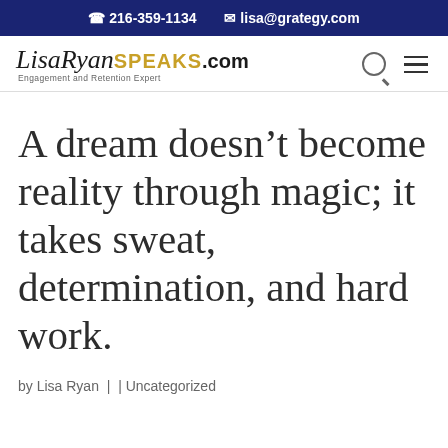216-359-1134   lisa@grategy.com
[Figure (logo): LisaRyanSPEAKS.com logo with cursive 'Lisa Ryan' in black, 'SPEAKS' in gold, '.com' in black, and subtitle 'Engagement and Retention Expert']
A dream doesn’t become reality through magic; it takes sweat, determination, and hard work.
by Lisa Ryan |  | Uncategorized